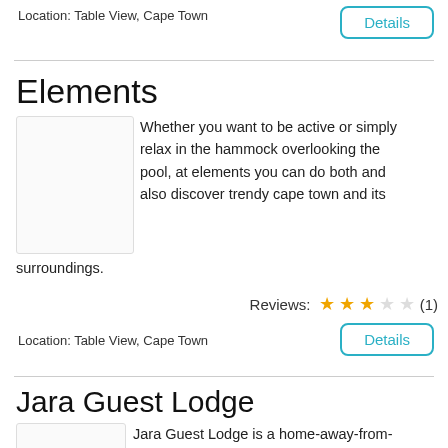Location: Table View, Cape Town
Details
Elements
[Figure (photo): Placeholder image for Elements accommodation]
Whether you want to be active or simply relax in the hammock overlooking the pool, at elements you can do both and also discover trendy cape town and its surroundings.
Reviews: ★★★☆☆ (1)
Location: Table View, Cape Town
Details
Jara Guest Lodge
[Figure (photo): Placeholder image for Jara Guest Lodge]
Jara Guest Lodge is a home-away-from-home for the business traveler or peaceful